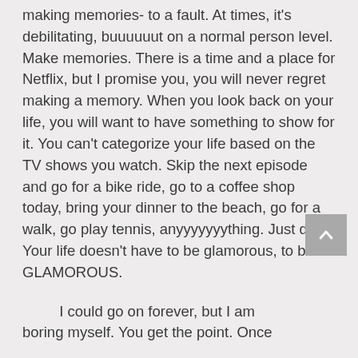making memories- to a fault. At times, it's debilitating, buuuuuut on a normal person level. Make memories. There is a time and a place for Netflix, but I promise you, you will never regret making a memory. When you look back on your life, you will want to have something to show for it. You can't categorize your life based on the TV shows you watch. Skip the next episode and go for a bike ride, go to a coffee shop today, bring your dinner to the beach, go for a walk, go play tennis, anyyyyyyything. Just do it. Your life doesn't have to be glamorous, to be GLAMOROUS.

    I could go on forever, but I am boring myself. You get the point. Once